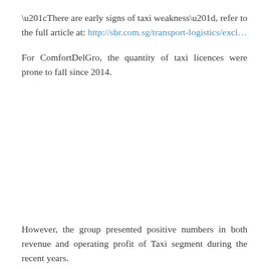“There are early signs of taxi weakness”, refer to the full article at: http://sbr.com.sg/transport-logistics/excl…
For ComfortDelGro, the quantity of taxi licences were prone to fall since 2014.
However, the group presented positive numbers in both revenue and operating profit of Taxi segment during the recent years.